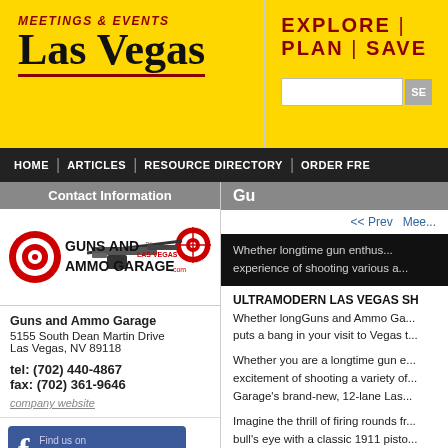MEETINGS & EVENTS Las Vegas | EXPLORE | PLAN | SAVE
HOME | ARTICLES | RESOURCE DIRECTORY | ORDER FRE...
Contact Information
[Figure (logo): Guns and Ammo Garage logo with target and rifle graphic, Las Vegas]
Guns and Ammo Garage
5155 South Dean Martin Drive
Las Vegas, NV 89118

tel: (702) 440-4867
fax: (702) 361-9646

company website
[Figure (logo): Find us on Facebook button]
Gallery
[Figure (photo): Gallery thumbnail 1 - video thumbnail with play button]
[Figure (photo): Gallery thumbnail 2 - person with gun at shooting range]
Gu...
<< Prev | Mee...
Whether longtime gun enthus... experience of shooting various a...
ULTRAMODERN LAS VEGAS SH...
Whether longGuns and Ammo Ga... puts a bang in your visit to Vegas t...
Whether you are a longtime gun e... excitement of shooting a variety of... Garage's brand-new, 12-lane Las...
Imagine the thrill of firing rounds fr... bull's eye with a classic 1911 pisto... safety and sophistication.
Make your wedding, birthday or co... Garage today. Call us at (702) 440... our affordable group rates. Now of...